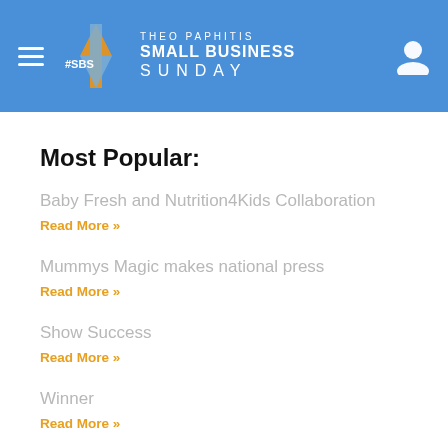Theo Paphitis Small Business Sunday
Most Popular:
Baby Fresh and Nutrition4Kids Collaboration
Read More »
Mummys Magic makes national press
Read More »
Show Success
Read More »
Winner
Read More »